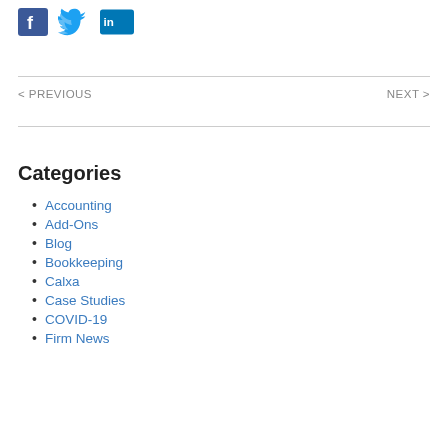[Figure (other): Social media icons: Facebook, Twitter, LinkedIn]
< PREVIOUS
NEXT >
Categories
Accounting
Add-Ons
Blog
Bookkeeping
Calxa
Case Studies
COVID-19
Firm News